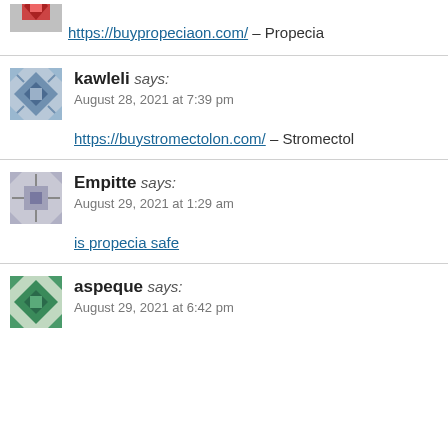https://buypropeciaon.com/ – Propecia
kawleli says: August 28, 2021 at 7:39 pm
https://buystromectolon.com/ – Stromectol
Empitte says: August 29, 2021 at 1:29 am
is propecia safe
aspeque says: August 29, 2021 at 6:42 pm